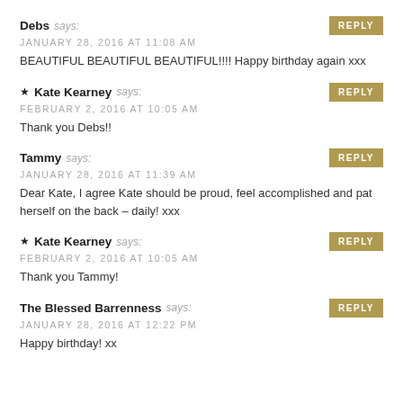Debs says: JANUARY 28, 2016 AT 11:08 AM
BEAUTIFUL BEAUTIFUL BEAUTIFUL!!!! Happy birthday again xxx
★ Kate Kearney says: FEBRUARY 2, 2016 AT 10:05 AM
Thank you Debs!!
Tammy says: JANUARY 28, 2016 AT 11:39 AM
Dear Kate, I agree Kate should be proud, feel accomplished and pat herself on the back – daily! xxx
★ Kate Kearney says: FEBRUARY 2, 2016 AT 10:05 AM
Thank you Tammy!
The Blessed Barrenness says: JANUARY 28, 2016 AT 12:22 PM
Happy birthday! xx